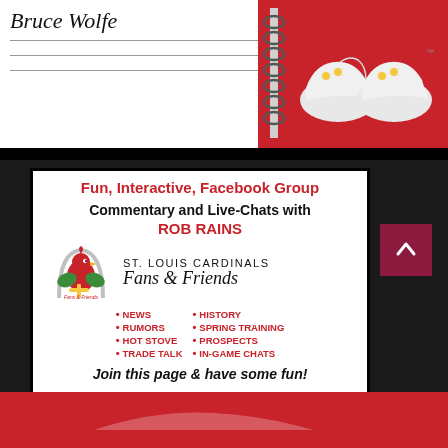[Figure (illustration): Signature 'Bruce Wolfe' in cursive with horizontal lines below, and a spiral notebook with red cover showing cartoon sneakers]
[Figure (infographic): Advertisement for St. Louis Cardinals Fans & Friends Facebook group featuring commentary and live-chats with Rob Rains, bullet points listing News, Rumors, Hot Stove, Trade Talk, History, Spring Training, Prospects, In-Game Chats, and 'Join this page & have some fun!']
[Figure (photo): Red banner at bottom of page]